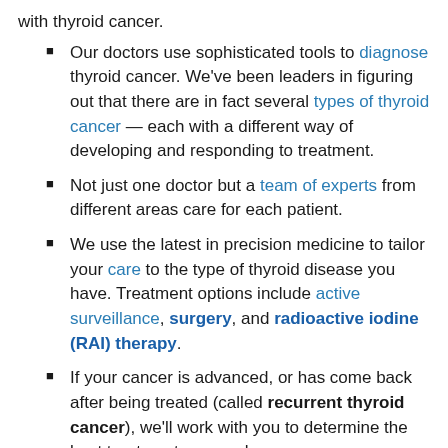with thyroid cancer.
Our doctors use sophisticated tools to diagnose thyroid cancer. We've been leaders in figuring out that there are in fact several types of thyroid cancer — each with a different way of developing and responding to treatment.
Not just one doctor but a team of experts from different areas care for each patient.
We use the latest in precision medicine to tailor your care to the type of thyroid disease you have. Treatment options include active surveillance, surgery, and radioactive iodine (RAI) therapy.
If your cancer is advanced, or has come back after being treated (called recurrent thyroid cancer), we'll work with you to determine the best treatment approach.